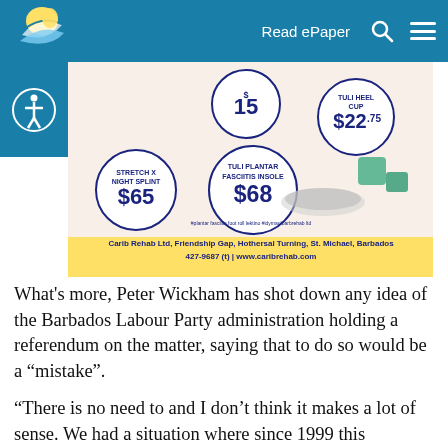Read ePaper
[Figure (photo): Advertisement for Carib Rehab Ltd showing foot care products including Stretch X Night Splint ($65), Tuli Plantar Fasciitis Insole ($68), $15 product, Tuli Heel Cup ($22.75), and insoles/heel cups. Yellow bottom bar reads: Carib Rehab Ltd, Friendship Gap, Hothersal Turning, St. Michael, Barbados 427-9687 (t) | www.caribrehab.com]
What's more, Peter Wickham has shot down any idea of the Barbados Labour Party administration holding a referendum on the matter, saying that to do so would be a “mistake”.
“There is no need to and I don’t think it makes a lot of sense. We had a situation where since 1999 this [political party] indicated its desire to go in the direction of a republic. The Opposition has always supported it . . . . So, I think there is enough cohesion in that regard to go with